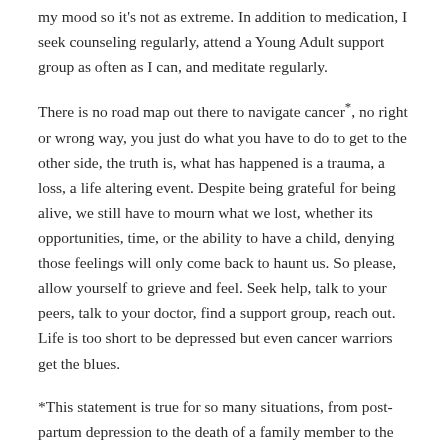my mood so it's not as extreme. In addition to medication, I seek counseling regularly, attend a Young Adult support group as often as I can, and meditate regularly.
There is no road map out there to navigate cancer*, no right or wrong way, you just do what you have to do to get to the other side, the truth is, what has happened is a trauma, a loss, a life altering event. Despite being grateful for being alive, we still have to mourn what we lost, whether its opportunities, time, or the ability to have a child, denying those feelings will only come back to haunt us. So please, allow yourself to grieve and feel. Seek help, talk to your peers, talk to your doctor, find a support group, reach out. Life is too short to be depressed but even cancer warriors get the blues.
*This statement is true for so many situations, from post-partum depression to the death of a family member to the end of a marriage. There is no right or wrong way to feel, but if you